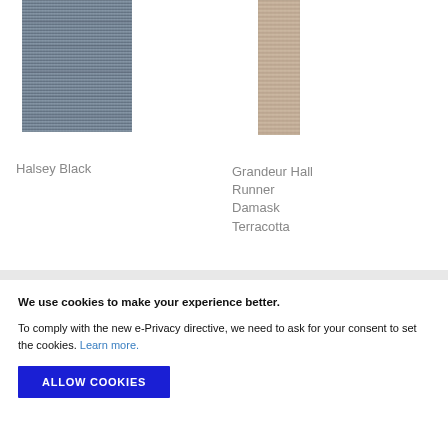[Figure (photo): Halsey Black rug product image – dark grey/charcoal woven texture, rectangular, portrait orientation]
Halsey Black
[Figure (photo): Grandeur Hall Runner Damask Terracotta rug product image – narrow beige/tan hall runner, portrait orientation]
Grandeur Hall Runner Damask Terracotta
We use cookies to make your experience better.
To comply with the new e-Privacy directive, we need to ask for your consent to set the cookies. Learn more.
ALLOW COOKIES